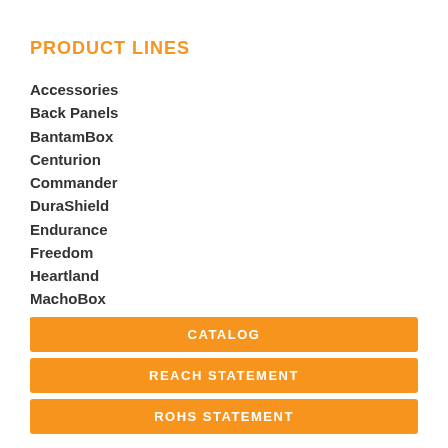PRODUCT LINES
Accessories
Back Panels
BantamBox
Centurion
Commander
DuraShield
Endurance
Freedom
Heartland
MachoBox
Triton
CATALOG
REACH STATEMENT
RoHS STATEMENT